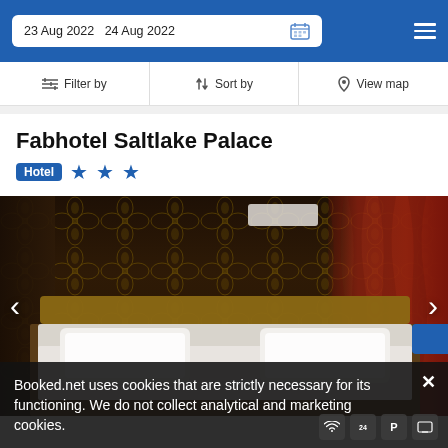23 Aug 2022  24 Aug 2022
Filter by  Sort by  View map
Fabhotel Saltlake Palace
Hotel ★★★
[Figure (photo): Hotel room interior showing a double bed with white bedding, dark brown/gold damask wallpaper, red curtains on the right, wooden headboard, and air conditioning unit.]
Booked.net uses cookies that are strictly necessary for its functioning. We do not collect analytical and marketing cookies.